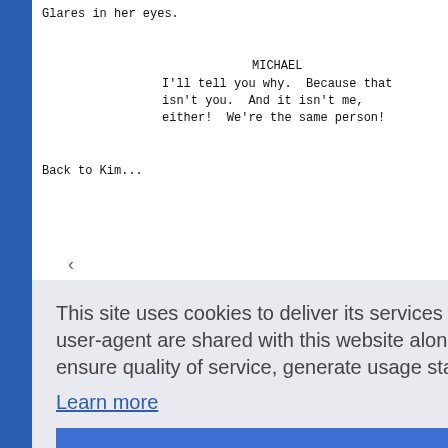Glares in her eyes.
MICHAEL
I'll tell you why.  Because that isn't you.  And it isn't me, either!  We're the same person!
Back to Kim...
[Figure (screenshot): Cookie consent overlay banner with text: 'This site uses cookies to deliver its services and to analyze traffic. Your IP address and user-agent are shared with this website along with performance and security metrics to ensure quality of service, generate usage statistics, and to detect and address abuse. Learn more' and a 'Got it!' button.]
I'm just supposed to roll over and drool!